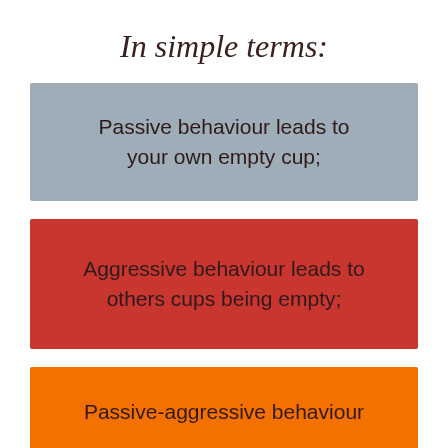In simple terms:
Passive behaviour leads to your own empty cup;
Aggressive behaviour leads to others cups being empty;
Passive-aggressive behaviour